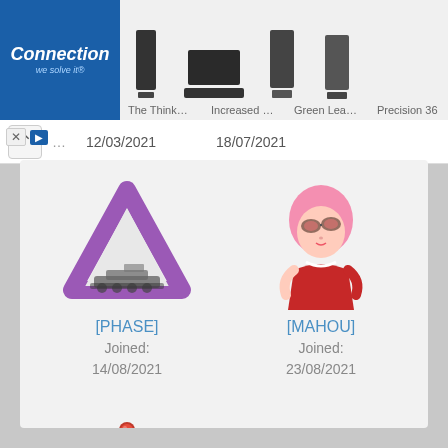[Figure (screenshot): Advertisement banner with Connection logo and product images (ThinkCen..., Increased pro..., Green Leader..., Precision 36)]
12/03/2021   18/07/2021
[Figure (illustration): [PHASE] clan avatar - purple triangle (Penrose-style) with tank]
[PHASE]
Joined:
14/08/2021
[Figure (illustration): [MAHOU] clan avatar - anime girl with goggles and pink hair]
[MAHOU]
Joined:
23/08/2021
[Figure (illustration): [CZ4R] clan avatar - ornate crown with red gem]
[CZ4R]
Joined:
15/02/2022